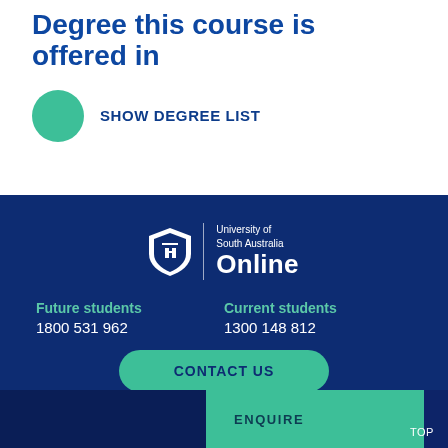Degree this course is offered in
SHOW DEGREE LIST
[Figure (logo): University of South Australia Online logo with shield icon, text 'University of South Australia' and 'Online' on dark blue background]
Future students
1800 531 962
Current students
1300 148 812
CONTACT US
ENQUIRE
TOP